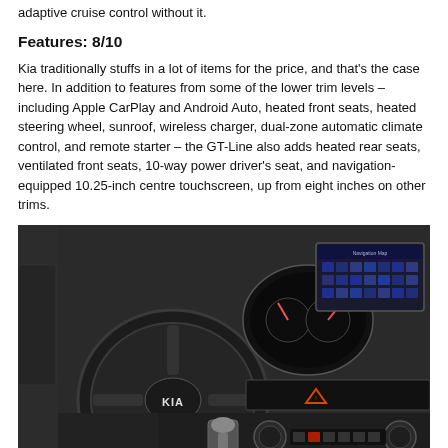adaptive cruise control without it.
Features: 8/10
Kia traditionally stuffs in a lot of items for the price, and that's the case here. In addition to features from some of the lower trim levels – including Apple CarPlay and Android Auto, heated front seats, heated steering wheel, sunroof, wireless charger, dual-zone automatic climate control, and remote starter – the GT-Line also adds heated rear seats, ventilated front seats, 10-way power driver's seat, and navigation-equipped 10.25-inch centre touchscreen, up from eight inches on other trims.
[Figure (photo): Interior photo of a Kia vehicle showing the steering wheel with Kia logo, instrument cluster, 10.25-inch touchscreen infotainment display, climate controls, and gear shifter console.]